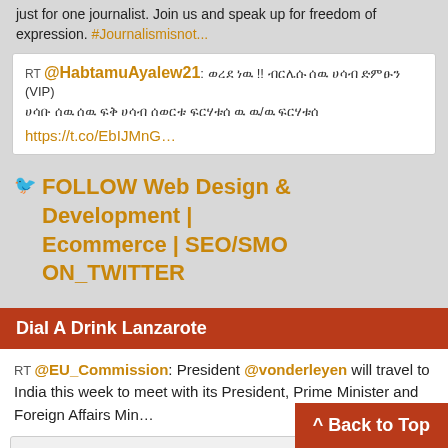just for one journalist. Join us and speak up for freedom of expression. #Journalismisnot...
RT @HabtamuAyalew21: [Amharic text] (VIP) [Amharic text] https://t.co/EbIJMnG…
🐦 FOLLOW Web Design & Development | Ecommerce | SEO/SMO ON_TWITTER
Dial A Drink Lanzarote
RT @EU_Commission: President @vonderleyen will travel to India this week to meet with its President, Prime Minister and Foreign Affairs Min…
RT @Transp0rtTravel: Pratiques Monopolistiques liées à une limitation du nombre de permis et de licences accordés au secteur du Taxi / Tran…
RT @Transp0rtTravel: Discriminaro Racism Canaria |